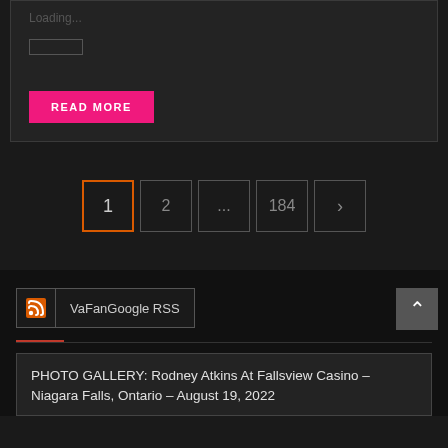Loading...
[Figure (other): Small empty loading bar placeholder rectangle]
READ MORE
1 2 ... 184 >
[Figure (other): RSS icon in orange square]
VaFanGoogle RSS
PHOTO GALLERY: Rodney Atkins At Fallsview Casino – Niagara Falls, Ontario – August 19, 2022